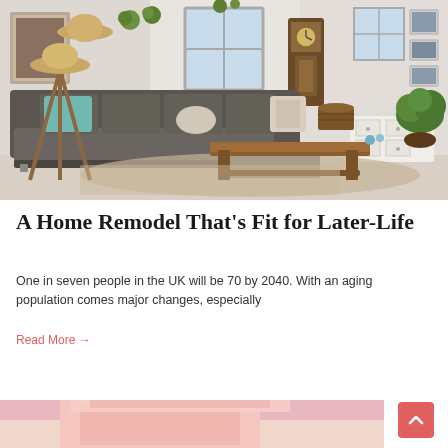[Figure (photo): A bright, modern living room with a dark grey L-shaped sofa with teal and patterned cushions, a wooden coffee table, potted plants, a grandfather clock on the wall, a white dresser, a large green plant, and a floor lamp. Natural light from windows.]
A Home Remodel That’s Fit for Later-Life
One in seven people in the UK will be 70 by 2040. With an aging population comes major changes, especially
Read More →
[Figure (photo): Bottom portion of an image showing a person wearing a pink towel or robe, cropped at the top of the frame.]